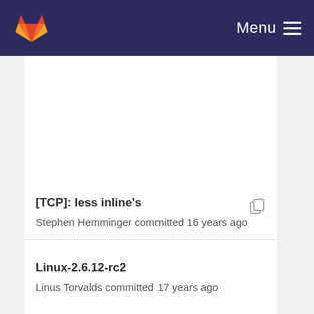GitLab | Menu
[TCP]: less inline's
Stephen Hemminger committed 16 years ago
Linux-2.6.12-rc2
Linus Torvalds committed 17 years ago